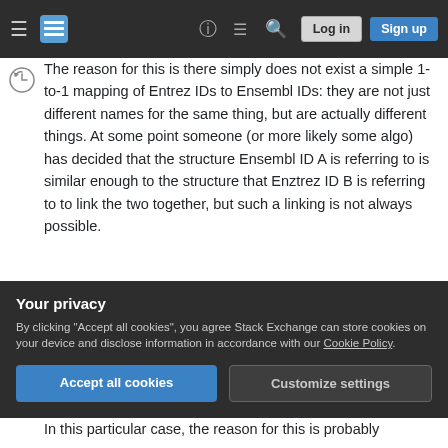Stack Exchange navigation bar with hamburger menu, logo, help icon, chat icon, search icon, Log in button, Sign up button
The reason for this is there simply does not exist a simple 1-to-1 mapping of Entrez IDs to Ensembl IDs: they are not just different names for the same thing, but are actually different things. At some point someone (or more likely some algo) has decided that the structure Ensembl ID A is referring to is similar enough to the structure that Enztrez ID B is referring to to link the two together, but such a linking is not always possible.
In the example you gave, the Ensembl database does not list ENSG00000267809 as being...
Your privacy
By clicking "Accept all cookies", you agree Stack Exchange can store cookies on your device and disclose information in accordance with our Cookie Policy.
Accept all cookies
Customize settings
In this particular case, the reason for this is probably...